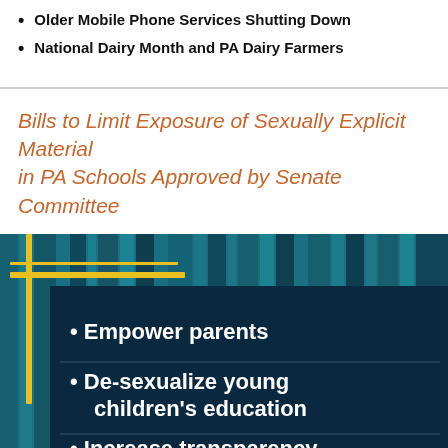Older Mobile Phone Services Shutting Down
National Dairy Month and PA Dairy Farmers
Bills to Limit Exposure of Sexually Explicit Material in PA Schools Approved by Senate Committee
[Figure (infographic): Teal/blue infographic with books in background, yellow cross accent, and dark blue content box listing bullet points: Empower parents, De-sexualize young children's education, Increase transparency between families & schools]